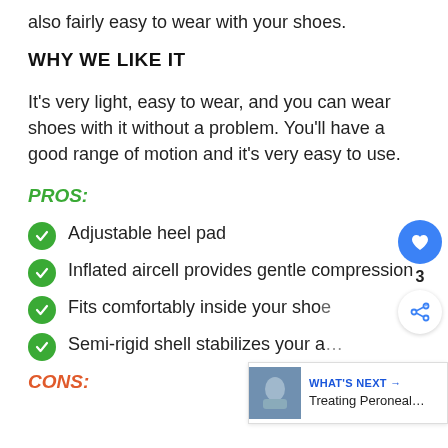also fairly easy to wear with your shoes.
WHY WE LIKE IT
It's very light, easy to wear, and you can wear shoes with it without a problem. You'll have a good range of motion and it's very easy to use.
PROS:
Adjustable heel pad
Inflated aircell provides gentle compression
Fits comfortably inside your shoe
Semi-rigid shell stabilizes your a…
CONS: